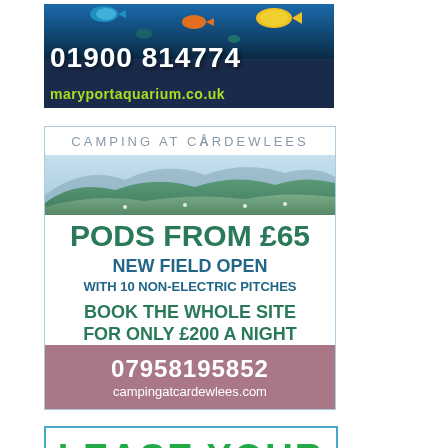[Figure (illustration): Advertisement for Maryport Aquarium showing tropical fish underwater background with phone number 01900 814774 and website maryportaquarium.co.uk in yellow/green text]
[Figure (illustration): Advertisement for Camping at Cardewlees showing hills/landscape illustration, text: PODS FROM £65, NEW FIELD OPEN WITH 10 NON-ELECTRIC PITCHES, BOOK THE WHOLE SITE FOR ONLY £200 A NIGHT, phone 07958195852, website campingatcardewlees.com]
[Figure (illustration): Partial advertisement with text LEASE YOUR in bold green letters with blue border, partially cut off at bottom of page]